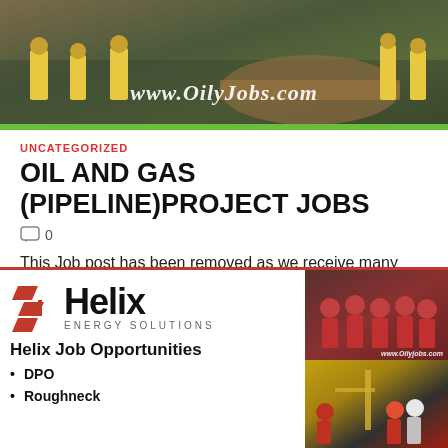[Figure (photo): Banner photo showing oil and gas pipeline workers in yellow vests with www.OilyJobs.com watermark and green bar at bottom]
UNCATEGORIZED
OIL AND GAS (PIPELINE)PROJECT JOBS
0
This Job post has been removed as we receive many reports about the credibility of the post is doubtful and agree with that . We …
[Figure (logo): Helix Energy Solutions company advertisement showing logo, job opportunities listing with DPO and Roughneck positions, and photos of workers in red uniforms with www.Oilyjobs.com watermark]